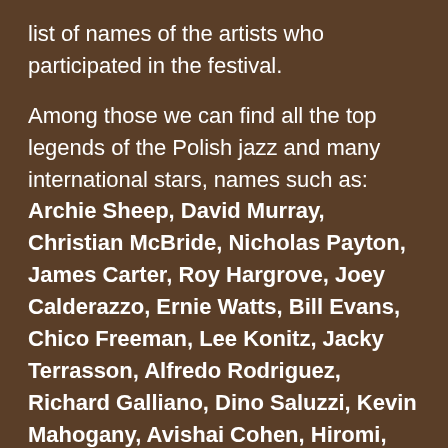list of names of the artists who participated in the festival.
Among those we can find all the top legends of the Polish jazz and many international stars, names such as: Archie Sheep, David Murray, Christian McBride, Nicholas Payton, James Carter, Roy Hargrove, Joey Calderazzo, Ernie Watts, Bill Evans, Chico Freeman, Lee Konitz, Jacky Terrasson, Alfredo Rodriguez, Richard Galliano, Dino Saluzzi, Kevin Mahogany, Avishai Cohen, Hiromi, Bobo Stenson, Kenny Wheeler